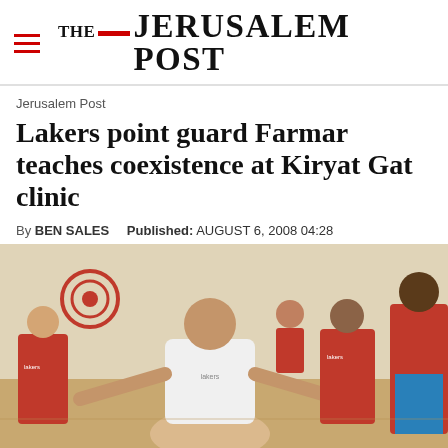THE JERUSALEM POST
Jerusalem Post
Lakers point guard Farmar teaches coexistence at Kiryat Gat clinic
By BEN SALES  Published: AUGUST 6, 2008 04:28
[Figure (photo): Basketball clinic photo showing a man in a white t-shirt leaning forward in a defensive stance surrounded by children and teens in red basketball jerseys in a gymnasium]
Advertisement